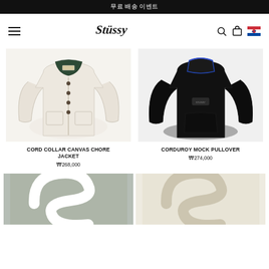무료 배송 이벤트
[Figure (logo): Stussy brand logo in black script]
[Figure (photo): Cord Collar Canvas Chore Jacket - cream/off-white jacket with dark green corduroy collar and snap buttons]
CORD COLLAR CANVAS CHORE JACKET
₩268,000
[Figure (photo): Corduroy Mock Pullover - black fleece/corduroy pullover with blue accent collar]
CORDUROY MOCK PULLOVER
₩274,000
[Figure (photo): Grey sweatshirt with large Stussy logo graphic, partially visible]
[Figure (photo): Cream/off-white sweatshirt with large Stussy logo graphic, partially visible]